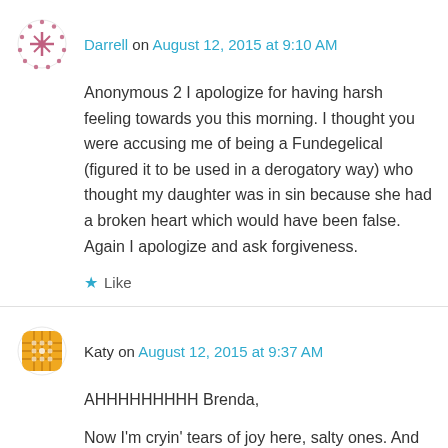Darrell on August 12, 2015 at 9:10 AM
Anonymous 2 I apologize for having harsh feeling towards you this morning. I thought you were accusing me of being a Fundegelical (figured it to be used in a derogatory way) who thought my daughter was in sin because she had a broken heart which would have been false. Again I apologize and ask forgiveness.
★ Like
Katy on August 12, 2015 at 9:37 AM
AHHHHHHHHH Brenda,
Now I'm cryin' tears of joy here, salty ones. And